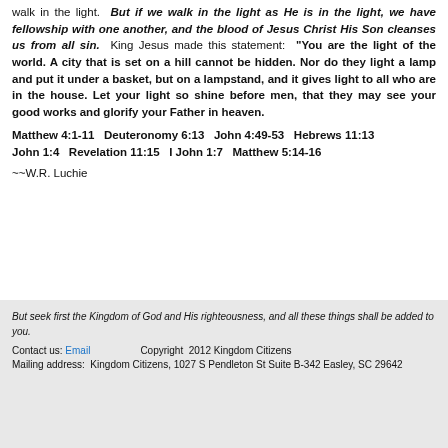walk in the light. But if we walk in the light as He is in the light, we have fellowship with one another, and the blood of Jesus Christ His Son cleanses us from all sin. King Jesus made this statement: "You are the light of the world. A city that is set on a hill cannot be hidden. Nor do they light a lamp and put it under a basket, but on a lampstand, and it gives light to all who are in the house. Let your light so shine before men, that they may see your good works and glorify your Father in heaven.
Matthew 4:1-11   Deuteronomy 6:13   John 4:49-53   Hebrews 11:13   John 1:4   Revelation 11:15   I John 1:7   Matthew 5:14-16
~~W.R. Luchie
But seek first the Kingdom of God and His righteousness, and all these things shall be added to you.
Contact us: Email   Copyright 2012 Kingdom Citizens
Mailing address: Kingdom Citizens, 1027 S Pendleton St Suite B-342 Easley, SC 29642